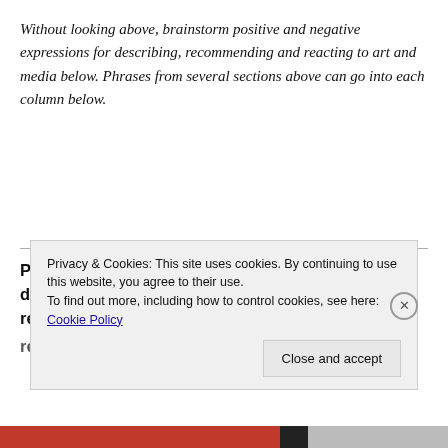Without looking above, brainstorm positive and negative expressions for describing, recommending and reacting to art and media below. Phrases from several sections above can go into each column below.
| Positive expressions for describing, recommending and reacting to art and | Negative expressions for describing, recommending against and reacting to art and |
| --- | --- |
Privacy & Cookies: This site uses cookies. By continuing to use this website, you agree to their use.
To find out more, including how to control cookies, see here: Cookie Policy
Close and accept